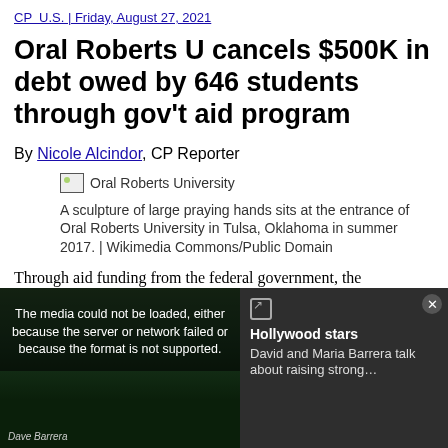CP  U.S. | Friday, August 27, 2021
Oral Roberts U cancels $500K in debt owed by 646 students through gov't aid program
By Nicole Alcindor, CP Reporter
[Figure (photo): Broken image placeholder labeled 'Oral Roberts University']
A sculpture of large praying hands sits at the entrance of Oral Roberts University in Tulsa, Oklahoma in summer 2017. | Wikimedia Commons/Public Domain
Through aid funding from the federal government, the Pentecostal
[Figure (other): Video overlay: media could not be loaded error banner with video still of two people and side panel showing 'Hollywood stars David and Maria Barrera talk about raising strong...']